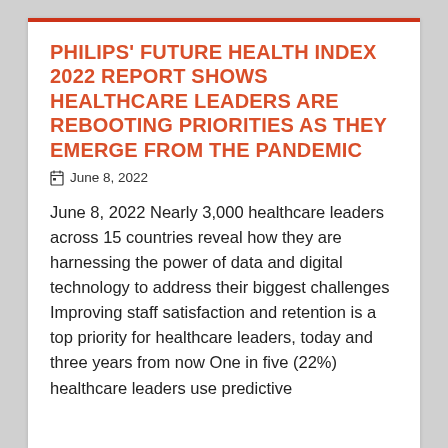PHILIPS' FUTURE HEALTH INDEX 2022 REPORT SHOWS HEALTHCARE LEADERS ARE REBOOTING PRIORITIES AS THEY EMERGE FROM THE PANDEMIC
June 8, 2022
June 8, 2022 Nearly 3,000 healthcare leaders across 15 countries reveal how they are harnessing the power of data and digital technology to address their biggest challenges Improving staff satisfaction and retention is a top priority for healthcare leaders, today and three years from now One in five (22%) healthcare leaders use predictive